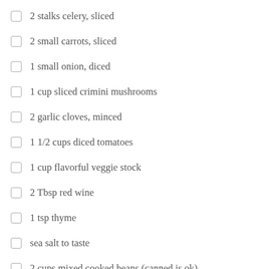2 stalks celery, sliced
2 small carrots, sliced
1 small onion, diced
1 cup sliced crimini mushrooms
2 garlic cloves, minced
1 1/2 cups diced tomatoes
1 cup flavorful veggie stock
2 Tbsp red wine
1 tsp thyme
sea salt to taste
2 cups mixed cooked beans (canned is ok)
Topping: